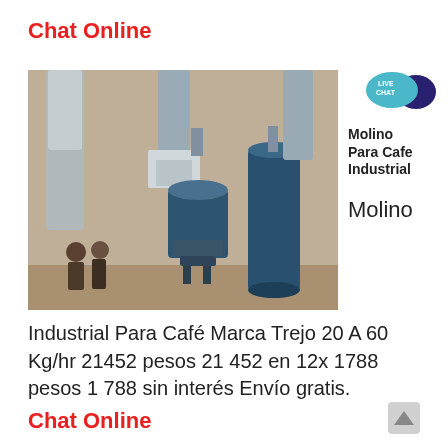Chat Online
[Figure (photo): Industrial coffee grinding mill machines in a warehouse setting, large blue cylindrical grinders with ducts and hoppers, workers visible at left]
[Figure (logo): Live Chat badge - teal speech bubble with LIVE CHAT text, dark blue chat bubble icon, text: Molino Para Cafe Industrial]
Molino
Industrial Para Café Marca Trejo 20 A 60 Kg/hr 21452 pesos 21 452 en 12x 1788 pesos 1 788 sin interés Envío gratis.
Chat Online